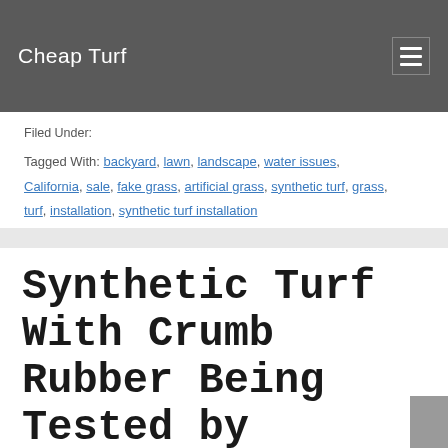Cheap Turf
Filed Under:
Tagged With: backyard, lawn, landscape, water issues, California, sale, fake grass, artificial grass, synthetic turf, grass, turf, installation, synthetic turf installation
Synthetic Turf With Crumb Rubber Being Tested by Glendale Unified School